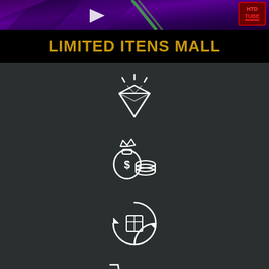[Figure (illustration): Purple/dark banner with diagonal geometric shapes and a red logo badge in top right corner]
LIMITED ITENS MALL
[Figure (illustration): White line icon of a sparkling diamond gem]
[Figure (illustration): White line icon of a money bag with dollar sign and stacked coins]
[Figure (illustration): White line icon of a box with circular refresh/sync arrows]
[Figure (illustration): White line icon of a shopping cart]
[Figure (illustration): Partially visible icons at bottom of page]